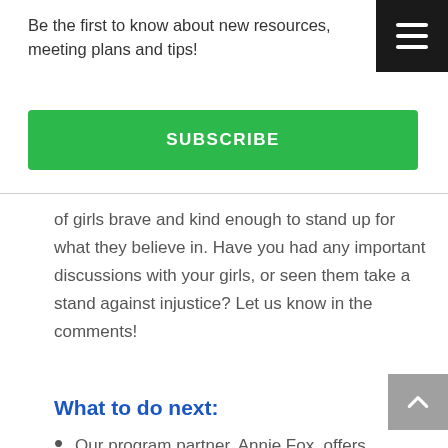Be the first to know about new resources, meeting plans and tips!
SUBSCRIBE
of girls brave and kind enough to stand up for what they believe in. Have you had any important discussions with your girls, or seen them take a stand against injustice? Let us know in the comments!
What to do next:
Our program partner, Annie Fox, offers programs that teach girls how to navigate the ins and outs of friendships. Strengthen your girl's